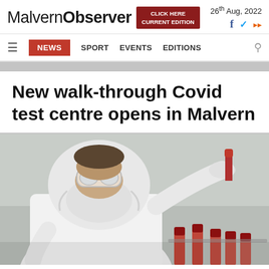Malvern Observer | CLICK HERE CURRENT EDITION | 26th Aug, 2022
NEWS  SPORT  EVENTS  EDITIONS
New walk-through Covid test centre opens in Malvern
[Figure (photo): A person in a white hazmat suit, safety goggles, and face mask holds a blood sample test tube with a red cap, with additional red-capped test tubes visible in the foreground. The background is grey.]